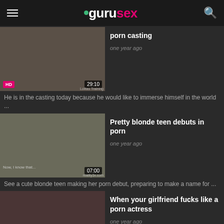gurusex
porn casting
one year ago
He is in the casting today because he would like to immerse himself in the world ...
Pretty blonde teen debuts in porn
one year ago
See a cute blonde teen making her porn debut, preparing to make a name for ...
When your girlfriend fucks like a porn actress
one year ago